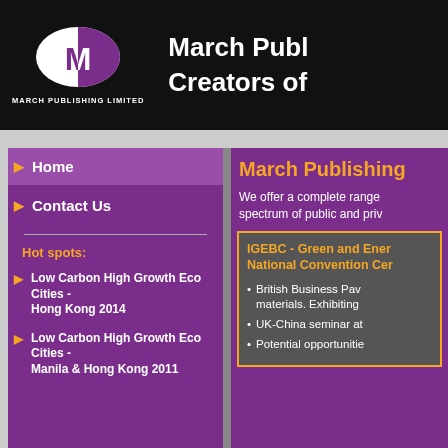[Figure (logo): March Publishing Limited logo - oval shape with M letter, half white half purple]
March Publishing Limited - Creators of ...
Home
Contact Us
Hot spots:
Low Carbon High Growth Eco Cities - Hong Kong 2014
Low Carbon High Growth Eco Cities - Manila & Hong Kong 2011
March Publishing
We offer a complete range spectrum of public and priv
IGEBC - Green and Ener National Convention Cer
British Business Pav materials. Exhibiting
UK-China seminar at
Potential opportunitie